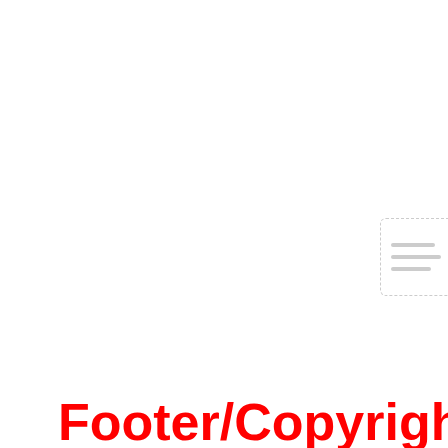[Figure (other): Partially visible UI widget or panel with dashed border and horizontal lines, positioned at top-right area]
Footer/Copyright